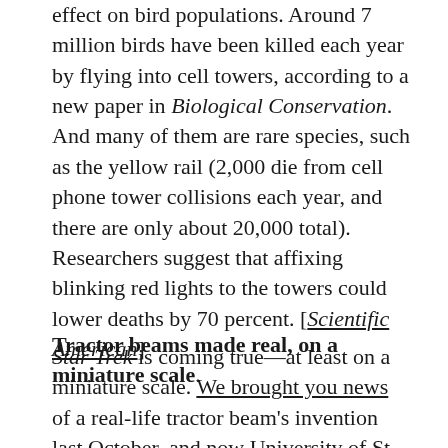effect on bird populations. Around 7 million birds have been killed each year by flying into cell towers, according to a new paper in Biological Conservation. And many of them are rare species, such as the yellow rail (2,000 die from cell phone tower collisions each year, and there are only about 20,000 total). Researchers suggest that affixing blinking red lights to the towers could lower deaths by 70 percent. [Scientific American]
Tractor beams made real, on a miniature scale.
Star Trek is coming true—at least on a miniature scale. We brought you news of a real-life tractor beam's invention last October, and now University of St. Andrews researcher Tomas Cizmar and his